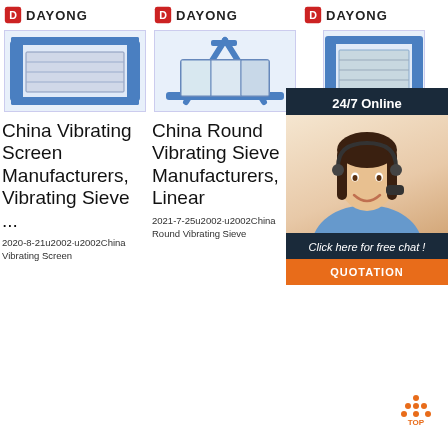[Figure (photo): Dayong logo and industrial vibrating screen machine - column 1]
China Vibrating Screen Manufacturers, Vibrating Sieve ...
2020-8-21u2002·u2002China Vibrating Screen
[Figure (photo): Dayong logo and round vibrating sieve machine - column 2]
China Round Vibrating Sieve Manufacturers, Linear
2021-7-25u2002·u2002China Round Vibrating Sieve
[Figure (photo): Dayong logo and vibrating screen machine - column 3]
Ch Vi Sc M Vibrating Motor,
Vibrating Screen Vibrating Motor, Test Sieve manufacturer
[Figure (photo): 24/7 Online customer service overlay with chat agent photo, Click here for free chat button, and QUOTATION button]